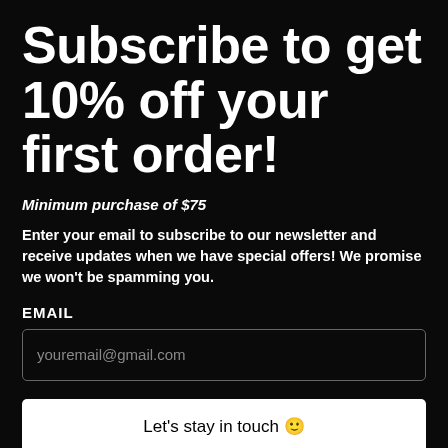Subscribe to get 10% off your first order!
Minimum purchase of $75
Enter your email to subscribe to our newsletter and receive updates when we have special offers! We promise we won't be spamming you.
EMAIL
youremail@gmail.com
Let's stay in touch 🙂